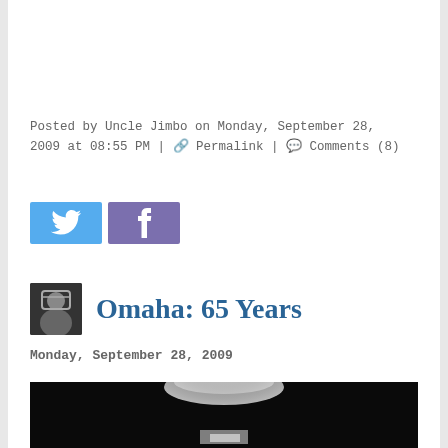Posted by Uncle Jimbo on Monday, September 28, 2009 at 08:55 PM | 🔗 Permalink | 💬 Comments (8)
[Figure (other): Twitter and Facebook social share buttons]
Omaha: 65 Years
Monday, September 28, 2009
[Figure (photo): Dark photograph showing light coming through what appears to be a tunnel or bunker opening]